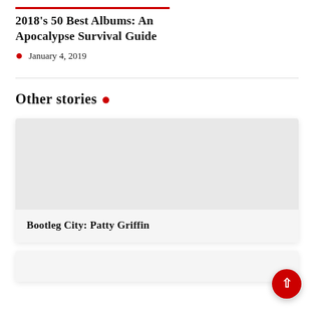2018's 50 Best Albums: An Apocalypse Survival Guide
January 4, 2019
Other stories
Bootleg City: Patty Griffin